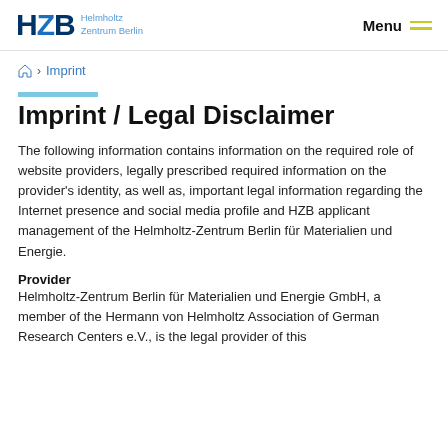HZB Helmholtz Zentrum Berlin | Menu
🏠 › Imprint
Imprint / Legal Disclaimer
The following information contains information on the required role of website providers, legally prescribed required information on the provider's identity, as well as, important legal information regarding the Internet presence and social media profile and HZB applicant management of the Helmholtz-Zentrum Berlin für Materialien und Energie.
Provider
Helmholtz-Zentrum Berlin für Materialien und Energie GmbH, a member of the Hermann von Helmholtz Association of German Research Centers e.V., is the legal provider of this